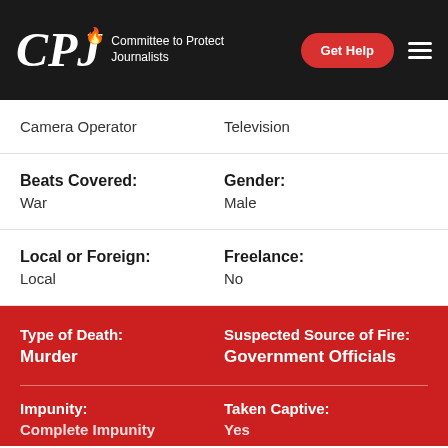CPJ — Committee to Protect Journalists
Camera Operator | Television
Beats Covered: War | Gender: Male
Local or Foreign: Local | Freelance: No
Type of Death: Murder | Suspected Source of Fire: Government Officials
Impunity: Complete Impunity | Taken Captive: Yes